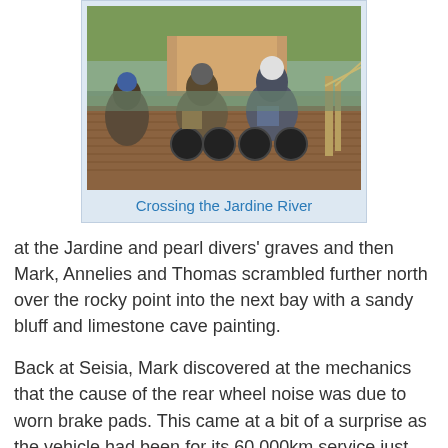[Figure (photo): Motorcyclists with loaded bikes on a ferry/barge crossing the Jardine River in Australia. The barge has wooden decking, and there is a rope/cable system visible on the right. Trees and dirt road visible in the background.]
Crossing the Jardine River
at the Jardine and pearl divers' graves and then Mark, Annelies and Thomas scrambled further north over the rocky point into the next bay with a sandy bluff and limestone cave painting.
Back at Seisia, Mark discovered at the mechanics that the cause of the rear wheel noise was due to worn brake pads. This came at a bit of a surprise as the vehicle had been for its 60,000km service just prior to the trip and the pads had supposedly been inspected then. Fortunately Shane was able to order a new set of pads to be flown up from Cairns